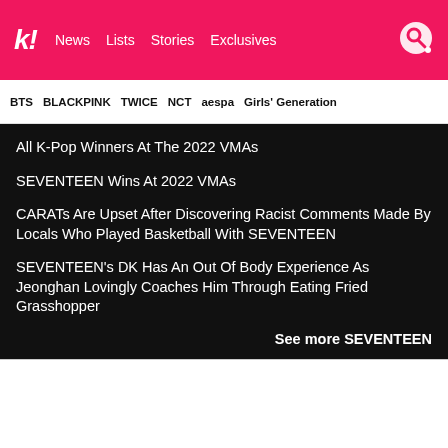k! News Lists Stories Exclusives
BTS BLACKPINK TWICE NCT aespa Girls' Generation
All K-Pop Winners At The 2022 VMAs
SEVENTEEN Wins At 2022 VMAs
CARATs Are Upset After Discovering Racist Comments Made By Locals Who Played Basketball With SEVENTEEN
SEVENTEEN's DK Has An Out Of Body Experience As Jeonghan Lovingly Coaches Him Through Eating Fried Grasshopper
See more SEVENTEEN